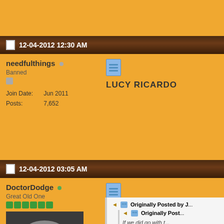12-04-2012 12:30 AM
needfulthings
Banned
Join Date: Jun 2011
Posts: 7,652
LUCY RICARDO
12-04-2012 03:05 AM
DoctorDodge
Great Old One
[Figure (photo): Avatar photo of a man in dark suit and sunglasses, resembling Agent Smith from The Matrix]
Originally Posted by J...
Originally Post...
If we did go with t... characters, I'd let... first. Just in case ... nominate the sam... me anyway. If he... ahead and nomin... As played by C...